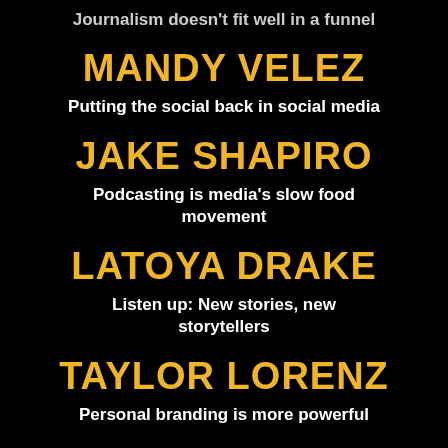Journalism doesn't fit well in a funnel
MANDY VELEZ
Putting the social back in social media
JAKE SHAPIRO
Podcasting is media's slow food movement
LATOYA DRAKE
Listen up: New stories, new storytellers
TAYLOR LORENZ
Personal branding is more powerful